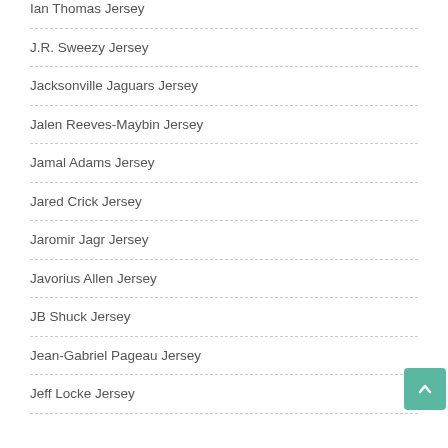Ian Thomas Jersey
J.R. Sweezy Jersey
Jacksonville Jaguars Jersey
Jalen Reeves-Maybin Jersey
Jamal Adams Jersey
Jared Crick Jersey
Jaromir Jagr Jersey
Javorius Allen Jersey
JB Shuck Jersey
Jean-Gabriel Pageau Jersey
Jeff Locke Jersey